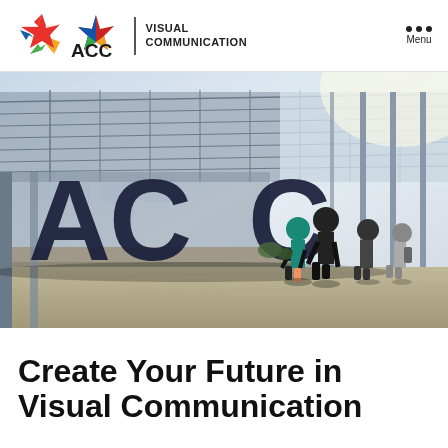ACC Visual Communication — Menu
[Figure (photo): Students walking toward a large bold 3D ACC letter sculpture under a covered outdoor walkway with natural light streaming through a glass roof structure on an ACC college campus.]
Create Your Future in Visual Communication